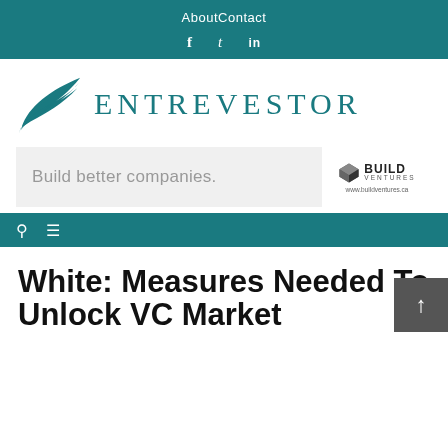About  Contact
[Figure (logo): Entrevestor logo with teal wing graphic and text ENTREVESTOR]
[Figure (infographic): Build Ventures advertisement banner: Build better companies. BUILD VENTURES www.buildventures.ca]
White: Measures Needed To Unlock VC Market